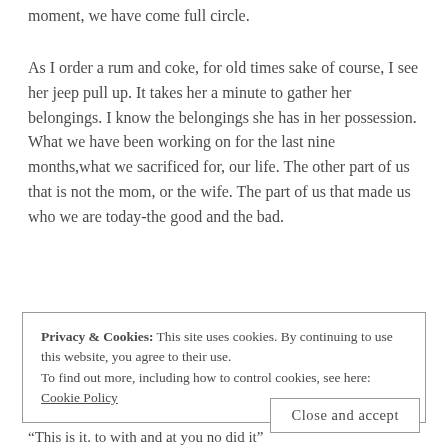moment, we have come full circle.
As I order a rum and coke, for old times sake of course, I see her jeep pull up. It takes her a minute to gather her belongings. I know the belongings she has in her possession. What we have been working on for the last nine months,what we sacrificed for, our life. The other part of us that is not the mom, or the wife. The part of us that made us who we are today-the good and the bad.
Privacy & Cookies: This site uses cookies. By continuing to use this website, you agree to their use.
To find out more, including how to control cookies, see here: Cookie Policy
Close and accept
“This is it. to with and at you no did it”